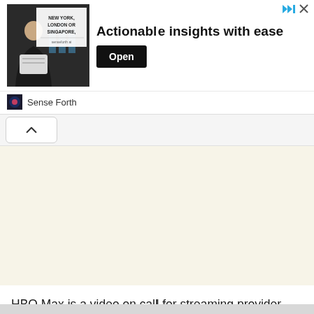[Figure (screenshot): Advertisement banner for Sense Forth with text 'NEW YORK, LONDON OR SINGAPORE,' and headline 'Actionable insights with ease' and an Open button, with skip/close icons at top right.]
[Figure (screenshot): Collapse/accordion button with upward chevron arrow on a light grey background bar.]
[Figure (screenshot): Beige/cream colored content placeholder area.]
HBO Max is a video on call for streaming provider owned by way of WarnerMedia. In the event you're having a look to install the HBO Max Kodi addon, that is the information you want. On this article, I'll information you thru the set up technique of the HBO